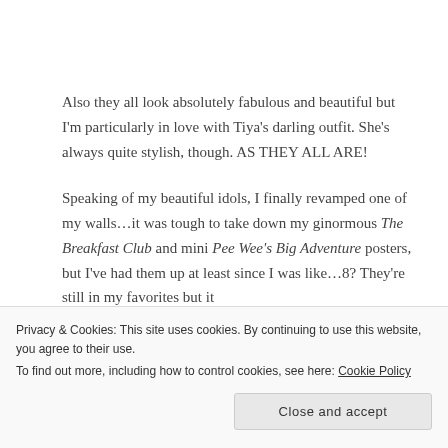Also they all look absolutely fabulous and beautiful but I'm particularly in love with Tiya's darling outfit. She's always quite stylish, though. AS THEY ALL ARE!
Speaking of my beautiful idols, I finally revamped one of my walls…it was tough to take down my ginormous The Breakfast Club and mini Pee Wee's Big Adventure posters, but I've had them up at least since I was like…8? They're still in my favorites but it
Privacy & Cookies: This site uses cookies. By continuing to use this website, you agree to their use.
To find out more, including how to control cookies, see here: Cookie Policy
Close and accept